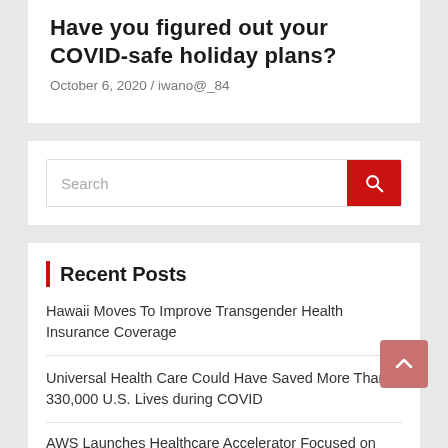Have you figured out your COVID-safe holiday plans?
October 6, 2020 / iwano@_84
[Figure (screenshot): Search bar with red search button containing a magnifying glass icon]
Recent Posts
Hawaii Moves To Improve Transgender Health Insurance Coverage
Universal Health Care Could Have Saved More Than 330,000 U.S. Lives during COVID
AWS Launches Healthcare Accelerator Focused on Health